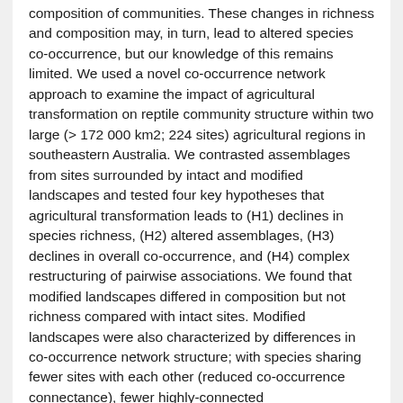composition of communities. These changes in richness and composition may, in turn, lead to altered species co-occurrence, but our knowledge of this remains limited. We used a novel co-occurrence network approach to examine the impact of agricultural transformation on reptile community structure within two large (> 172 000 km2; 224 sites) agricultural regions in southeastern Australia. We contrasted assemblages from sites surrounded by intact and modified landscapes and tested four key hypotheses that agricultural transformation leads to (H1) declines in species richness, (H2) altered assemblages, (H3) declines in overall co-occurrence, and (H4) complex restructuring of pairwise associations. We found that modified landscapes differed in composition but not richness compared with intact sites. Modified landscapes were also characterized by differences in co-occurrence network structure; with species sharing fewer sites with each other (reduced co-occurrence connectance), fewer highly-connected species (reduced hub distribution...